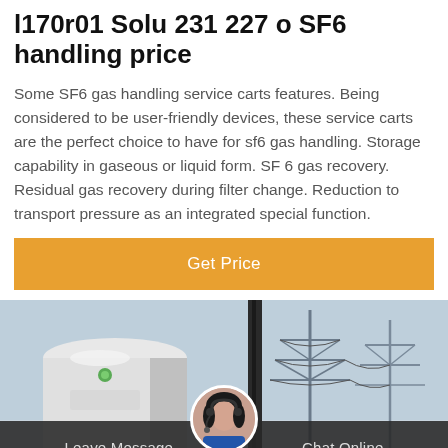l170r01 Solu 231 227 o SF6 handling price
Some SF6 gas handling service carts features. Being considered to be user-friendly devices, these service carts are the perfect choice to have for sf6 gas handling. Storage capability in gaseous or liquid form. SF 6 gas recovery. Residual gas recovery during filter change. Reduction to transport pressure as an integrated special function.
Get Price
[Figure (photo): Industrial scene showing electrical transmission equipment with towers, cables, and a white cylindrical device or antenna in the foreground against a light sky background.]
Leave Message   Chat Online